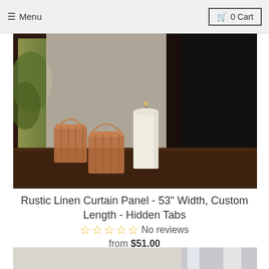≡ Menu   🛒 0 Cart
[Figure (photo): Rustic linen curtain panel draped near a wooden window, with two copper lanterns and a white pillar candle on a dark wooden windowsill, green trees visible outside.]
Rustic Linen Curtain Panel - 53" Width, Custom Length - Hidden Tabs
☆☆☆☆☆ No reviews
from $51.00
[Figure (photo): Partial view of a second product — white/sheer curtain panel in a bright room, partially visible at bottom of page.]